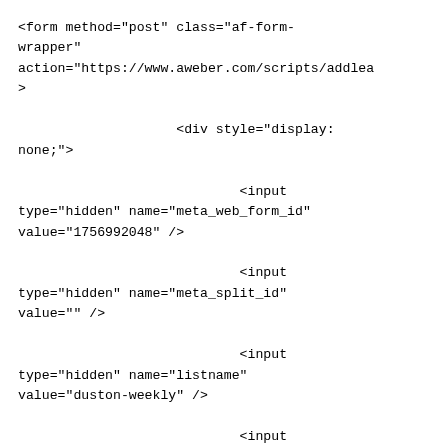<form method="post" class="af-form-wrapper"
action="https://www.aweber.com/scripts/addlea
>

                    <div style="display:
none;">

                            <input
type="hidden" name="meta_web_form_id"
value="1756992048" />

                            <input
type="hidden" name="meta_split_id"
value="" />

                            <input
type="hidden" name="listname"
value="duston-weekly" />

                            <input
type="hidden" name="redirect"
value="https://www.aweber.com/thankyou.htm?